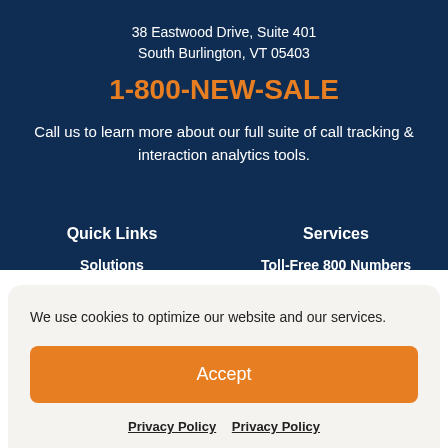38 Eastwood Drive, Suite 401
South Burlington, VT 05403
1-800-NEW-SALE
Call us to learn more about our full suite of call tracking & interaction analytics tools.
Quick Links
Services
Solutions
Toll-Free 800 Numbers
We use cookies to optimize our website and our services.
Accept
Privacy Policy  Privacy Policy